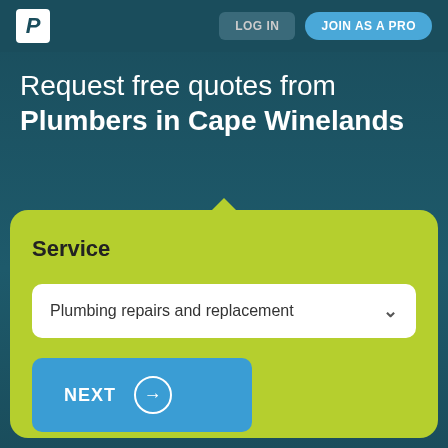P  LOG IN  JOIN AS A PRO
Request free quotes from Plumbers in Cape Winelands
Service
Plumbing repairs and replacement
NEXT